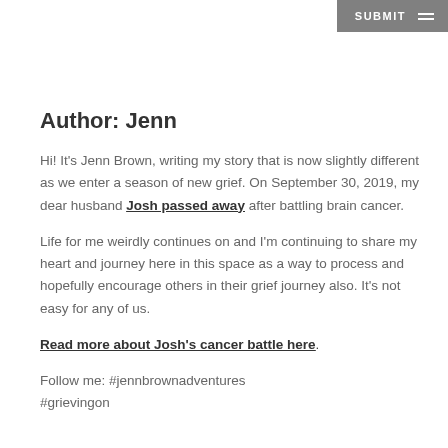SUBMIT
Author: Jenn
Hi! It's Jenn Brown, writing my story that is now slightly different as we enter a season of new grief. On September 30, 2019, my dear husband Josh passed away after battling brain cancer.
Life for me weirdly continues on and I'm continuing to share my heart and journey here in this space as a way to process and hopefully encourage others in their grief journey also. It's not easy for any of us.
Read more about Josh's cancer battle here.
Follow me: #jennbrownadventures
#grievingon